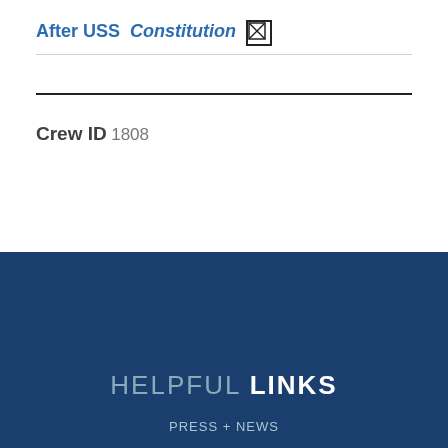After USS Constitution
Crew ID
1808
HELPFUL LINKS
Press + News